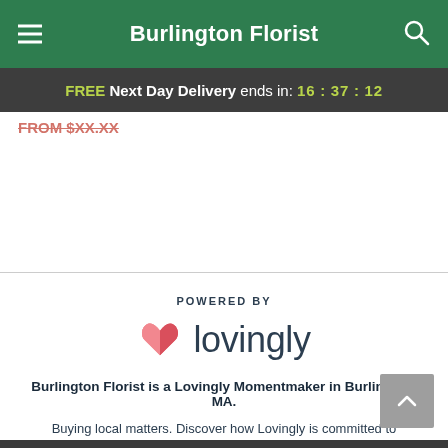Burlington Florist
FREE Next Day Delivery ends in: 16 : 37 : 12
FROM $XX.XX
[Figure (logo): Lovingly logo with pink/red heart icon and 'lovingly' wordmark, preceded by 'POWERED BY' label]
Burlington Florist is a Lovingly Momentmaker in Burlington, MA.
Buying local matters. Discover how Lovingly is committed to strengthening relationships by helping local florists market, sell, and deliver their floral designs online.